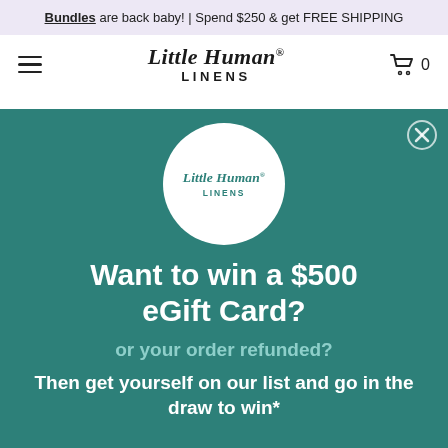Bundles are back baby! | Spend $250 & get FREE SHIPPING
[Figure (screenshot): Little Human Linens brand navigation bar with hamburger menu on left, cursive and sans-serif logo in center, and shopping cart with 0 on right]
[Figure (illustration): Popup modal with teal background showing Little Human Linens circular logo, promotional text about winning $500 eGift Card or order refund, and close button]
Want to win a $500 eGift Card?
or your order refunded?
Then get yourself on our list and go in the draw to win*